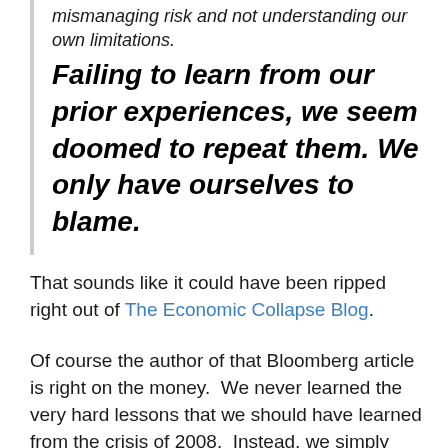mismanaging risk and not understanding our own limitations. Failing to learn from our prior experiences, we seem doomed to repeat them. We only have ourselves to blame.
That sounds like it could have been ripped right out of The Economic Collapse Blog.
Of course the author of that Bloomberg article is right on the money.  We never learned the very hard lessons that we should have learned from the crisis of 2008.  Instead, we simply reinflated all of the old bubbles and made them bigger than ever before.